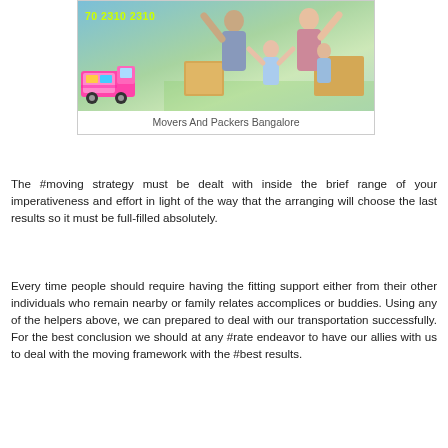[Figure (photo): A family of four celebrating with arms raised, sitting with cardboard moving boxes. A cartoon moving truck is visible in the lower left. Phone number '70 2310 2310' shown in yellow-green text at top left of image.]
Movers And Packers Bangalore
The #moving strategy must be dealt with inside the brief range of your imperativeness and effort in light of the way that the arranging will choose the last results so it must be full-filled absolutely.
Every time people should require having the fitting support either from their other individuals who remain nearby or family relates accomplices or buddies. Using any of the helpers above, we can prepared to deal with our transportation successfully. For the best conclusion we should at any #rate endeavor to have our allies with us to deal with the moving framework with the #best results.